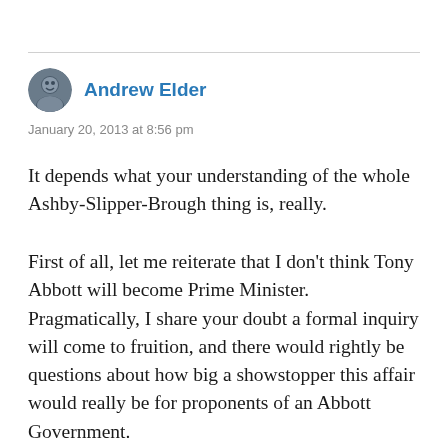[Figure (photo): Circular avatar photo of Andrew Elder, a person shown from shoulders up]
Andrew Elder
January 20, 2013 at 8:56 pm
It depends what your understanding of the whole Ashby-Slipper-Brough thing is, really.
First of all, let me reiterate that I don’t think Tony Abbott will become Prime Minister. Pragmatically, I share your doubt a formal inquiry will come to fruition, and there would rightly be questions about how big a showstopper this affair would really be for proponents of an Abbott Government.